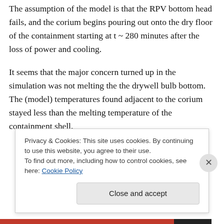The assumption of the model is that the RPV bottom head fails, and the corium begins pouring out onto the dry floor of the containment starting at t ~ 280 minutes after the loss of power and cooling.
It seems that the major concern turned up in the simulation was not melting the the drywell bulb bottom. The (model) temperatures found adjacent to the corium stayed less than the melting temperature of the containment shell.
Privacy & Cookies: This site uses cookies. By continuing to use this website, you agree to their use.
To find out more, including how to control cookies, see here: Cookie Policy
[Close and accept]